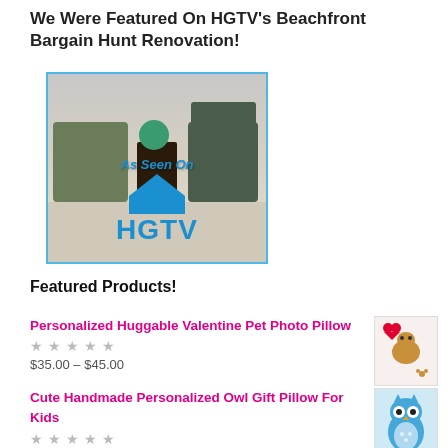We Were Featured On HGTV's Beachfront Bargain Hunt Renovation!
[Figure (photo): Outdoor patio furniture photo with 'As Seen On HGTV' overlay graphic in blue, inside a blue-bordered frame]
Featured Products!
Personalized Huggable Valentine Pet Photo Pillow
$35.00 – $45.00
Cute Handmade Personalized Owl Gift Pillow For Kids